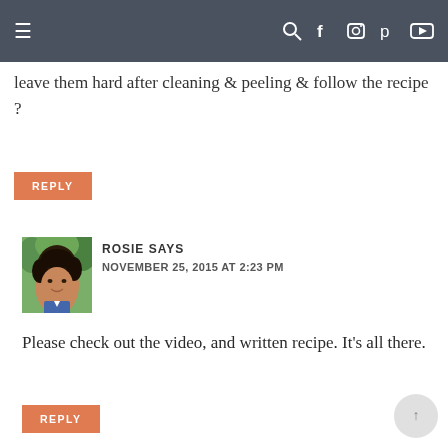≡  [search] [facebook] [instagram] [pinterest] [youtube]
leave them hard after cleaning & peeling & follow the recipe ?
REPLY
ROSIE SAYS
NOVEMBER 25, 2015 AT 2:23 PM
Please check out the video, and written recipe. It's all there.
REPLY